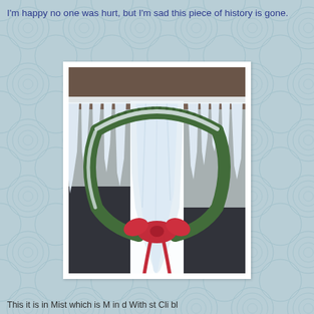I'm happy no one was hurt, but I'm sad this piece of history is gone.
[Figure (photo): A Christmas wreath covered in thick icicles hanging from the eave of a building. The wreath has green pine branches and a red ribbon bow, with large dramatic icicles hanging down from it and the roof structure. Snow and ice coat the entire scene.]
This it is in Mist which is M in d With st Cli bl